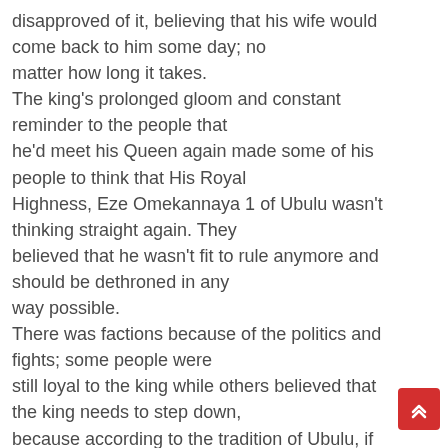disapproved of it, believing that his wife would come back to him some day; no matter how long it takes. The king's prolonged gloom and constant reminder to the people that he'd meet his Queen again made some of his people to think that His Royal Highness, Eze Omekannaya 1 of Ubulu wasn't thinking straight again. They believed that he wasn't fit to rule anymore and should be dethroned in any way possible. There was factions because of the politics and fights; some people were still loyal to the king while others believed that the king needs to step down, because according to the tradition of Ubulu, if a king dies without a heir, the village would go into serious famine that would last for ab six years, and